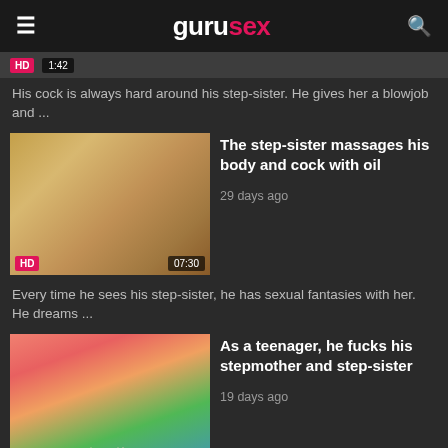gurusex
HD  1:42
His cock is always hard around his step-sister. He gives her a blowjob and ...
[Figure (photo): Video thumbnail showing a massage scene, HD badge, duration 07:30]
The step-sister massages his body and cock with oil
29 days ago
Every time he sees his step-sister, he has sexual fantasies with her. He dreams ...
[Figure (illustration): Anime-style video thumbnail, HD badge, duration 15:14]
As a teenager, he fucks his stepmother and step-sister
19 days ago
They are both super sexy, they have enormously big breasts and they look really ...